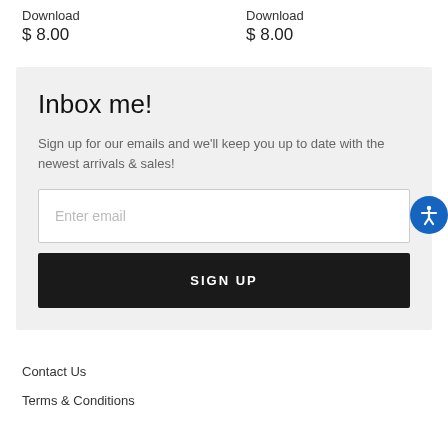Download
$ 8.00
Download
$ 8.00
Inbox me!
Sign up for our emails and we'll keep you up to date with the newest arrivals & sales!
Enter email
SIGN UP
Contact Us
Terms & Conditions